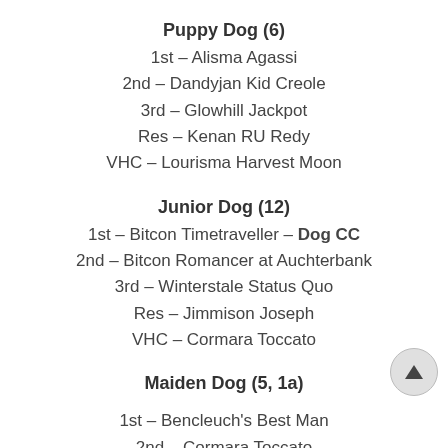Puppy Dog (6)
1st – Alisma Agassi
2nd – Dandyjan Kid Creole
3rd – Glowhill Jackpot
Res – Kenan RU Redy
VHC – Lourisma Harvest Moon
Junior Dog (12)
1st – Bitcon Timetraveller – Dog CC
2nd – Bitcon Romancer at Auchterbank
3rd – Winterstale Status Quo
Res – Jimmison Joseph
VHC – Cormara Toccato
Maiden Dog (5, 1a)
1st – Bencleuch's Best Man
2nd – Cormara Toccato